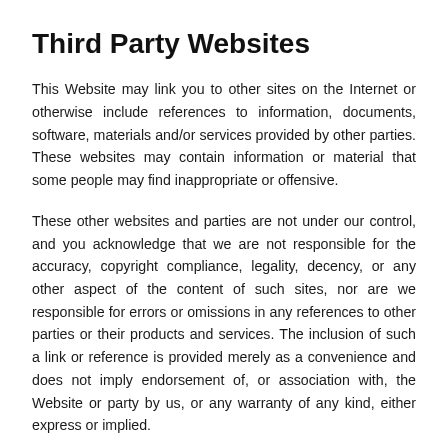Third Party Websites
This Website may link you to other sites on the Internet or otherwise include references to information, documents, software, materials and/or services provided by other parties. These websites may contain information or material that some people may find inappropriate or offensive.
These other websites and parties are not under our control, and you acknowledge that we are not responsible for the accuracy, copyright compliance, legality, decency, or any other aspect of the content of such sites, nor are we responsible for errors or omissions in any references to other parties or their products and services. The inclusion of such a link or reference is provided merely as a convenience and does not imply endorsement of, or association with, the Website or party by us, or any warranty of any kind, either express or implied.
Disclaimer of Warranties